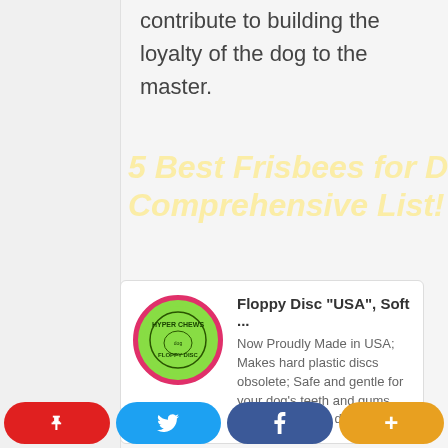contribute to building the loyalty of the dog to the master.
5 Best Frisbees for Dogs Comprehensive List!
[Figure (other): Product card: Floppy Disc with green circular logo with pink border. Title: Floppy Disc "USA", Soft ... Description: Now Proudly Made in USA; Makes hard plastic discs obsolete; Safe and gentle for your dog's teeth and gums, great for smaller dogs]
[Figure (other): Product card: JW Pet Company Whirl... with JW logo]